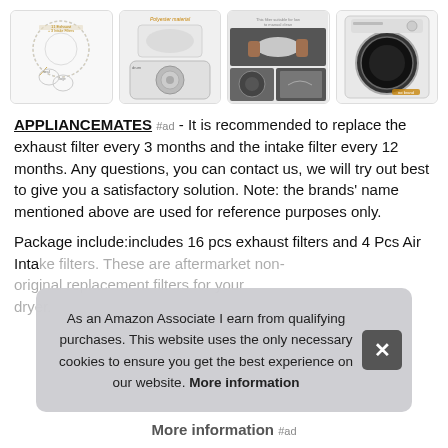[Figure (photo): Four product thumbnail images showing washing machine filters: diagram of filter components, polyester material close-up, installation demonstration, and washing machine exterior.]
APPLIANCEMATES #ad - It is recommended to replace the exhaust filter every 3 months and the intake filter every 12 months. Any questions, you can contact us, we will try out best to give you a satisfactory solution. Note: the brands' name mentioned above are used for reference purposes only.
Package include:includes 16 pcs exhaust filters and 4 Pcs Air Intake filters. These are aftermarket, non-original replacement filters for your dryer.
As an Amazon Associate I earn from qualifying purchases. This website uses the only necessary cookies to ensure you get the best experience on our website. More information
More information #ad